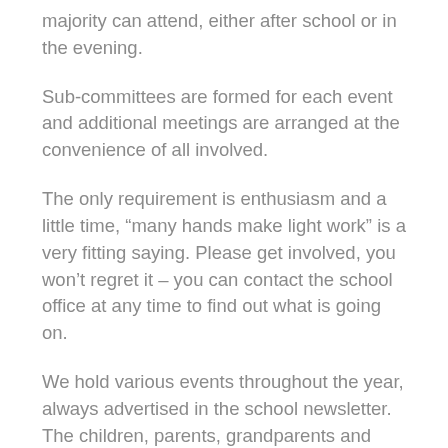majority can attend, either after school or in the evening.
Sub-committees are formed for each event and additional meetings are arranged at the convenience of all involved.
The only requirement is enthusiasm and a little time, “many hands make light work” is a very fitting saying. Please get involved, you won’t regret it – you can contact the school office at any time to find out what is going on.
We hold various events throughout the year, always advertised in the school newsletter. The children, parents, grandparents and friends who attend have great fun and love them. We are always open to new ideas.
The…